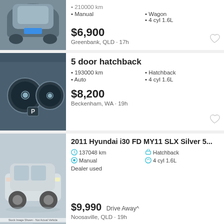[Figure (photo): Top of car listing 1 - partial view showing car image]
• 210000 km
• Manual
• Wagon
• 4 cyl 1.6L
$6,900
Greenbank, QLD · 17h
5 door hatchback
[Figure (photo): Car dashboard instrument cluster photo]
• 193000 km
• Auto
• Hatchback
• 4 cyl 1.6L
$8,200
Beckenham, WA · 19h
2011 Hyundai i30 FD MY11 SLX Silver 5...
[Figure (photo): Silver Hyundai i30 car listing with multiple thumbnail images, stock image disclaimer]
137048 km
Manual
Hatchback
4 cyl 1.6L
Dealer used
$9,990 Drive Away^
Noosaville, QLD · 19h
1  2  3  7  >